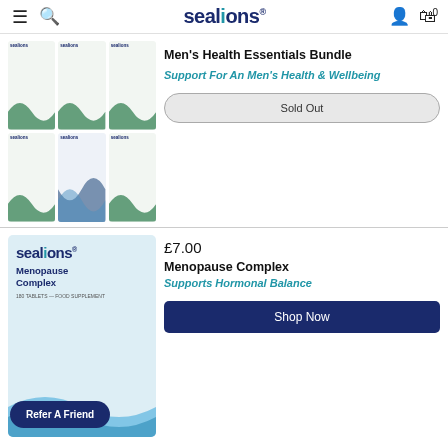sealions
[Figure (photo): Six Sealions supplement product bags arranged in a 3x2 grid - Men's Health Essentials Bundle]
Men's Health Essentials Bundle
Support For An Men's Health & Wellbeing
Sold Out
£7.00
[Figure (photo): Sealions Menopause Complex product package - white bag with blue wave design]
Menopause Complex
Supports Hormonal Balance
Shop Now
Refer A Friend